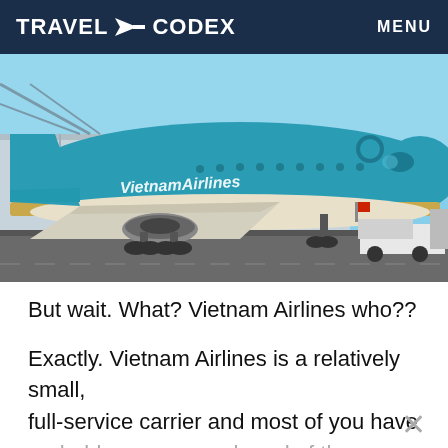TRAVEL CODEX   MENU
[Figure (photo): Vietnam Airlines teal/turquoise aircraft on tarmac at an airport, with ground support vehicle visible. The plane shows 'Vietnam Airlines' branding in script lettering with a lotus flower logo.]
But wait. What? Vietnam Airlines who??
Exactly. Vietnam Airlines is a relatively small, full-service carrier and most of you have probably never even heard of them. That's pretty